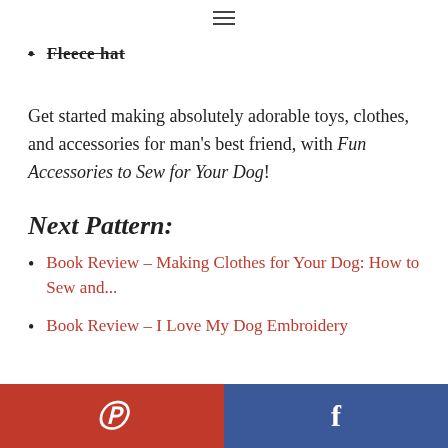≡
Fleece hat
Get started making absolutely adorable toys, clothes, and accessories for man's best friend, with Fun Accessories to Sew for Your Dog!
Next Pattern:
Book Review – Making Clothes for Your Dog: How to Sew and...
Book Review – I Love My Dog Embroidery
Pinterest  Facebook